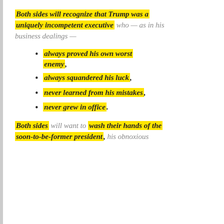Both sides will recognize that Trump was a uniquely incompetent executive who — as in his business dealings —
always proved his own worst enemy,
always squandered his luck,
never learned from his mistakes,
never grew in office.
Both sides will want to wash their hands of the soon-to-be-former president, his obnoxious